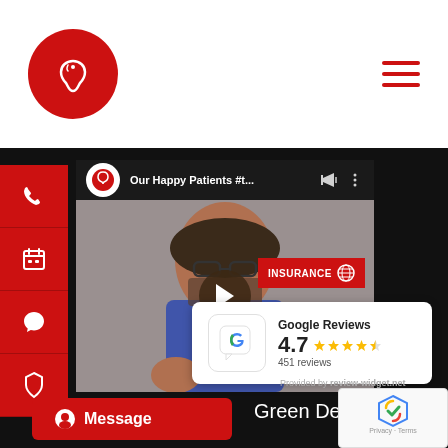[Figure (logo): Dental clinic logo: red circle with tooth/heart icon]
[Figure (screenshot): YouTube video thumbnail showing 'Our Happy Patients #t...' from Kamala Dental channel, with a woman in blue floral top and play button overlay]
[Figure (infographic): INSURANCE badge in red with globe icon]
[Figure (infographic): Google Reviews widget showing 4.7 stars with 451 reviews]
Provided by review-widget.net
NARU
[Figure (infographic): Red Message button with chat icon]
Green Dentistry:
[Figure (screenshot): reCAPTCHA widget with Privacy - Terms]